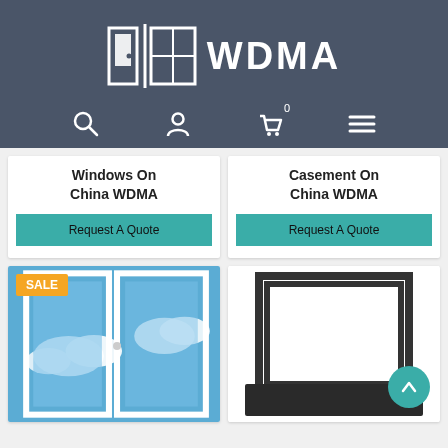[Figure (logo): WDMA logo with door and window icon on dark gray header background]
[Figure (screenshot): Navigation bar with search, user, cart (0), and menu icons on dark gray background]
Windows On China WDMA
Request A Quote
Casement On China WDMA
Request A Quote
[Figure (photo): White casement window open showing blue sky with clouds, with SALE badge]
[Figure (photo): Dark gray/black awning window frame open at angle on white background]